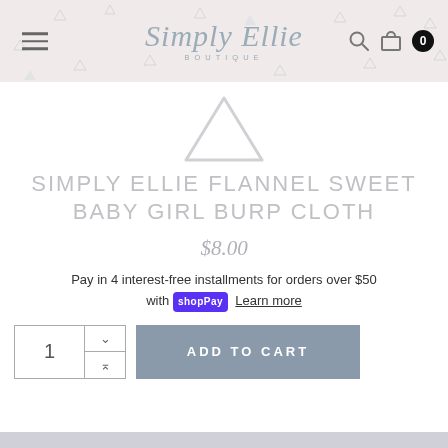Simply Ellie Boutique
[Figure (logo): Simply Ellie Boutique logo — cursive script text with BOUTIQUE below]
SIMPLY ELLIE FLANNEL SWEET BABY GIRL BURP CLOTH
$8.00
Pay in 4 interest-free installments for orders over $50 with Shop Pay Learn more
ADD TO CART
[Figure (other): Social media share icons: Facebook, Twitter, Google+, Email, Pinterest]